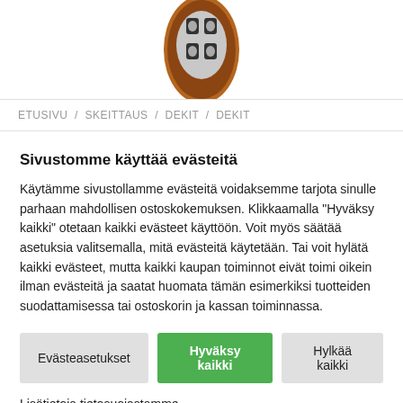[Figure (photo): Partial top view of a skateboard deck with brown/amber color and black/white graphic pattern, cropped at top of image]
ETUSIVU / SKEITTAUS / DEKIT / DEKIT
Sivustomme käyttää evästeitä
Käytämme sivustollamme evästeitä voidaksemme tarjota sinulle parhaan mahdollisen ostoskokemuksen. Klikkaamalla "Hyväksy kaikki" otetaan kaikki evästeet käyttöön. Voit myös säätää asetuksia valitsemalla, mitä evästeitä käytetään. Tai voit hylätä kaikki evästeet, mutta kaikki kaupan toiminnot eivät toimi oikein ilman evästeitä ja saatat huomata tämän esimerkiksi tuotteiden suodattamisessa tai ostoskorin ja kassan toiminnassa.
Evästeasetukset | Hyväksy kaikki | Hylkää kaikki
Lisätietoja tietosuojastamme